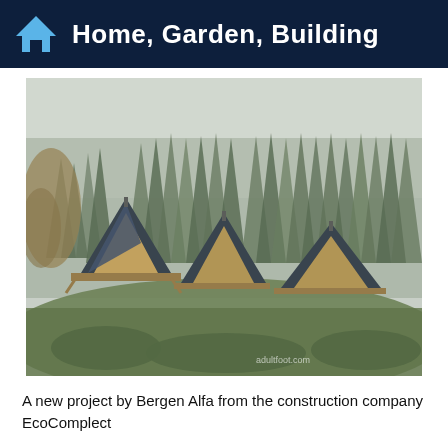Home, Garden, Building
[Figure (photo): Three A-frame cabins with dark triangular roofs and warm interior lighting nestled on a green hillside surrounded by tall evergreen pine trees in misty foggy forest conditions. The cabins feature large wooden deck structures and glass facades.]
A new project by Bergen Alfa from the construction company EcoComplect